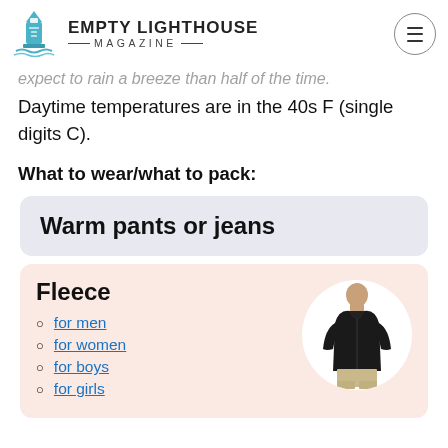EMPTY LIGHTHOUSE MAGAZINE
...expect to rain a breeze than half of the time. Daytime temperatures are in the 40s F (single digits C).
What to wear/what to pack:
Warm pants or jeans
Fleece
for men
for women
for boys
for girls
[Figure (photo): Man wearing black fleece zip-up jacket]